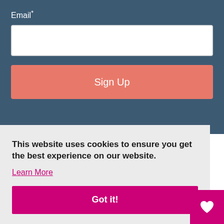Email*
[Figure (screenshot): White email input text field]
Sign Up
This website uses cookies to ensure you get the best experience on our website.
Learn More
Got it!